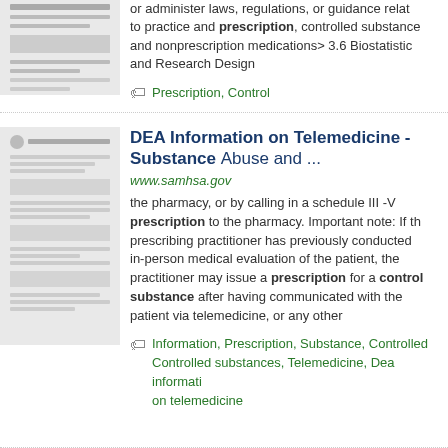or administer laws, regulations, or guidance relating to practice and prescription, controlled substances and nonprescription medications> 3.6 Biostatistics and Research Design
Prescription, Control
DEA Information on Telemedicine - Substance Abuse and ...
www.samhsa.gov
the pharmacy, or by calling in a schedule III -V prescription to the pharmacy. Important note: If the prescribing practitioner has previously conducted in-person medical evaluation of the patient, the practitioner may issue a prescription for a controlled substance after having communicated with the patient via telemedicine, or any other
Information, Prescription, Substance, Controlled, Controlled substances, Telemedicine, Dea information on telemedicine